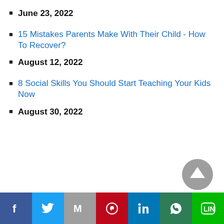June 23, 2022
15 Mistakes Parents Make With Their Child - How To Recover?
August 12, 2022
8 Social Skills You Should Start Teaching Your Kids Now
August 30, 2022